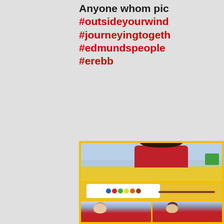Anyone whom pic… #outsideyourwindow #journeyingtogether #edmundspeople #erebb
[Figure (photo): Collage of children in a classroom wearing red jumpers, doing painting activities. Top photo shows a child with dark hair painting at a yellow table. Middle shows a paint palette with colourful blobs. Bottom shows two more children painting.]